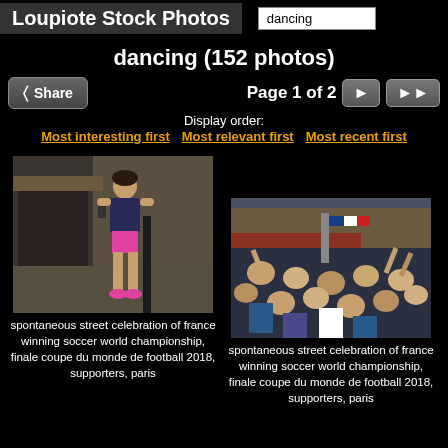Loupiote Stock Photos
dancing (search box)
dancing (152 photos)
Share  Page 1 of 2  ► ▶▶
Display order:
Most interesting first  Most relevant first  Most recent first
[Figure (photo): Girl in pink shorts standing on a street, looking at phone]
spontaneous street celebration of france winning soccer world championship, finale coupe du monde de football 2018, supporters, paris
[Figure (photo): Crowd of people celebrating in the street, French flags visible]
spontaneous street celebration of france winning soccer world championship, finale coupe du monde de football 2018, supporters, paris